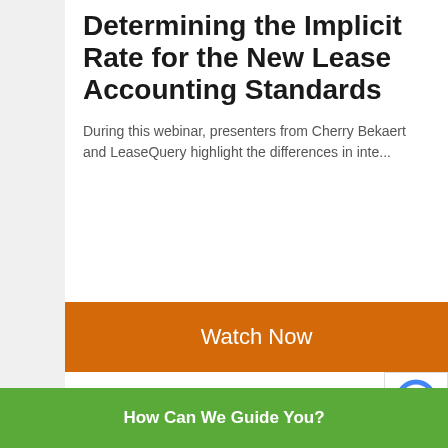Determining the Implicit Rate for the New Lease Accounting Standards
During this webinar, presenters from Cherry Bekaert and LeaseQuery highlight the differences in inte...
Watch Now
How Can We Guide You?